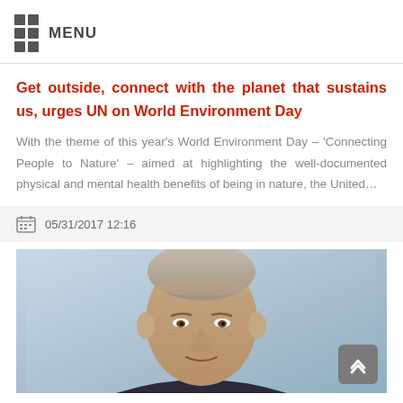MENU
Get outside, connect with the planet that sustains us, urges UN on World Environment Day
With the theme of this year's World Environment Day – 'Connecting People to Nature' – aimed at highlighting the well-documented physical and mental health benefits of being in nature, the United...
05/31/2017 12:16
[Figure (photo): Portrait photo of a senior man (UN official) against a light blue background]